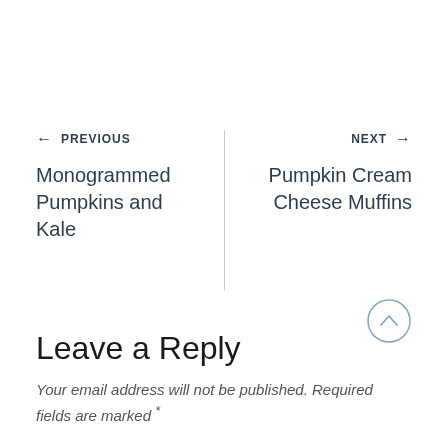← PREVIOUS
Monogrammed Pumpkins and Kale
NEXT →
Pumpkin Cream Cheese Muffins
Leave a Reply
Your email address will not be published. Required fields are marked *